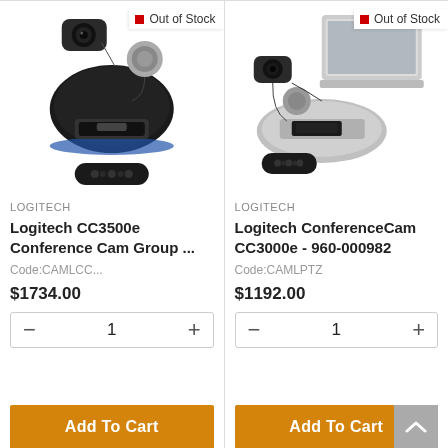[Figure (photo): Logitech CC3500e Conference Cam Group product photo showing camera, speaker, and remote, with Out of Stock badge]
LOGITECH
Logitech CC3500e Conference Cam Group ...
Code:CAMLCC...
$1734.00
[Figure (photo): Logitech ConferenceCam CC3000e product photo showing camera, speaker, remote and laptop, with Out of Stock badge]
LOGITECH
Logitech ConferenceCam CC3000e - 960-000982
Code:CAMLPTZ
$1192.00